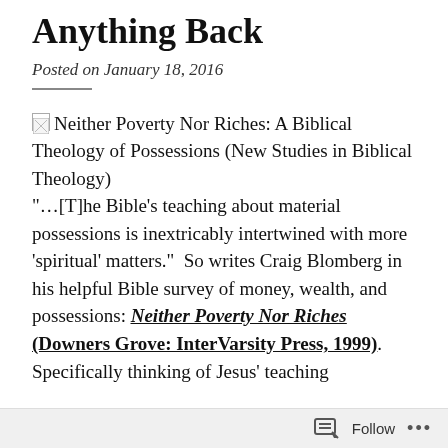Anything Back
Posted on January 18, 2016
[Figure (illustration): Book cover thumbnail placeholder image for 'Neither Poverty Nor Riches: A Biblical Theology of Possessions (New Studies in Biblical Theology)']
Neither Poverty Nor Riches: A Biblical Theology of Possessions (New Studies in Biblical Theology)
"…[T]he Bible's teaching about material possessions is inextricably intertwined with more 'spiritual' matters."  So writes Craig Blomberg in his helpful Bible survey of money, wealth, and possessions: Neither Poverty Nor Riches (Downers Grove: InterVarsity Press, 1999).  Specifically thinking of Jesus' teaching
Follow ...